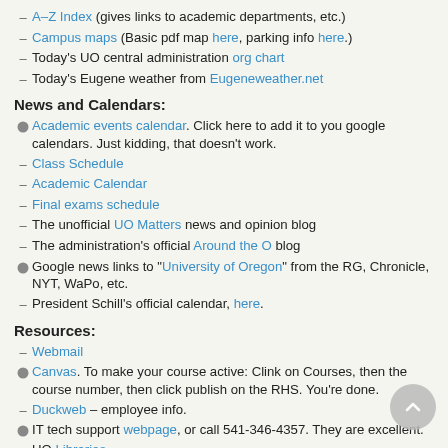A–Z Index (gives links to academic departments, etc.)
Campus maps (Basic pdf map here, parking info here.)
Today's UO central administration org chart
Today's Eugene weather from Eugeneweather.net
News and Calendars:
Academic events calendar. Click here to add it to you google calendars. Just kidding, that doesn't work.
Class Schedule
Academic Calendar
Final exams schedule
The unofficial UO Matters news and opinion blog
The administration's official Around the O blog
Google news links to "University of Oregon" from the RG, Chronicle, NYT, WaPo, etc.
President Schill's official calendar, here.
Resources:
Webmail
Canvas. To make your course active: Clink on Courses, then the course number, then click publish on the RHS. You're done.
Duckweb – employee info.
IT tech support webpage, or call 541-346-4357. They are excellent.
UO Libraries
UO Archives ""the official repository of the University of Oregon historical records dating from 1872 to present". Presidential Archives here.
UO Public Records log. (This used to be updated daily, it's now strangely erratic.)
Governance:
UO Senate, list of UO committees, UO Senate's official blog